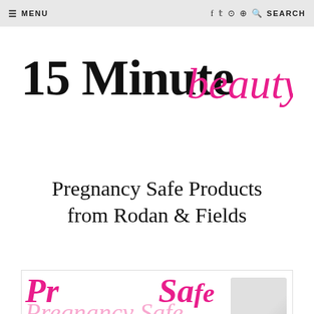≡ MENU   f  t  ⊙  ⊕  🔍 SEARCH
[Figure (logo): 15 Minute Beauty.com logo — '15 Minute' in bold serif black, 'beauty.com' in pink cursive script]
Pregnancy Safe Products from Rodan & Fields
[Figure (illustration): Preview image for the article showing 'Pregnancy Safe products from' text in pink script overlapping styles, with a product image on the right and a close (×) button]